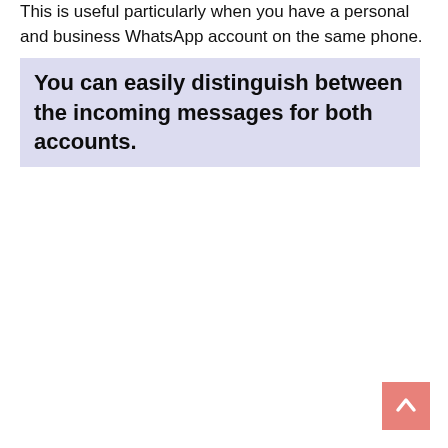This is useful particularly when you have a personal and business WhatsApp account on the same phone.
You can easily distinguish between the incoming messages for both accounts.
[Figure (other): Pink/rose back-to-top button with upward chevron arrow in bottom-right corner]